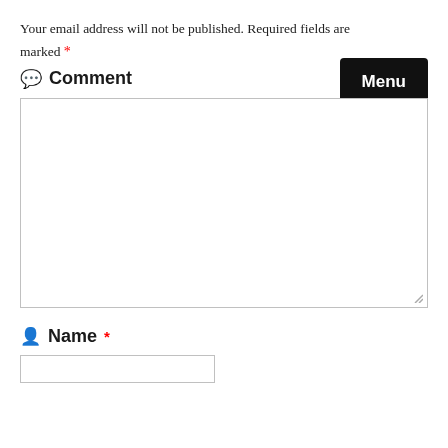Your email address will not be published. Required fields are marked *
[Figure (other): Black 'Menu' button in top right corner]
💬 Comment
[Figure (other): Empty comment textarea input box with resize handle]
👤 Name *
[Figure (other): Empty name text input box]